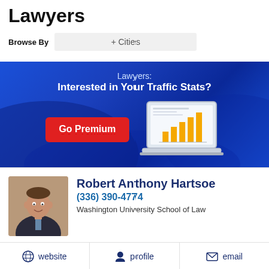Lawyers
Browse By   + Cities
[Figure (infographic): Blue gradient banner advertisement for legal directory premium service. Text reads 'Lawyers: Interested in Your Traffic Stats?' with a red 'Go Premium' button and a laptop illustration showing a bar chart with orange bars.]
Robert Anthony Hartsoe
(336) 390-4774
Washington University School of Law
website   profile   email